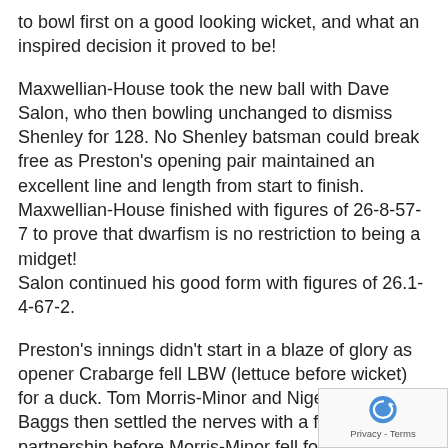to bowl first on a good looking wicket, and what an inspired decision it proved to be!
Maxwellian-House took the new ball with Dave Salon, who then bowling unchanged to dismiss Shenley for 128. No Shenley batsman could break free as Preston's opening pair maintained an excellent line and length from start to finish. Maxwellian-House finished with figures of 26-8-57-7 to prove that dwarfism is no restriction to being a midget! Salon continued his good form with figures of 26.1-4-67-2.
Preston's innings didn't start in a blaze of glory as opener Crabarge fell LBW (lettuce before wicket) for a duck. Tom Morris-Minor and Nigel 'Real Deal' Baggs then settled the nerves with a fifty partnership before Morris-Minor fell for 20. When Baggs went for 35 Preston still had some work to do, and who better that work than Preston's very own Greek billionair...